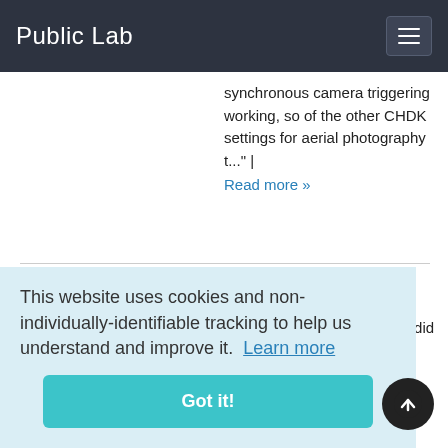Public Lab
synchronous camera triggering working, so of the other CHDK settings for aerial photography t..." |
Read more »
andresc4
"Hey Chris thank you for the quick reply! , the photo looks great! , and you were right, i did not use white balance | ...with
...photo They ...with ...ed Ned's Fiji plugin to align the
This website uses cookies and non-individually-identifiable tracking to help us understand and improve it. Learn more
Got it!